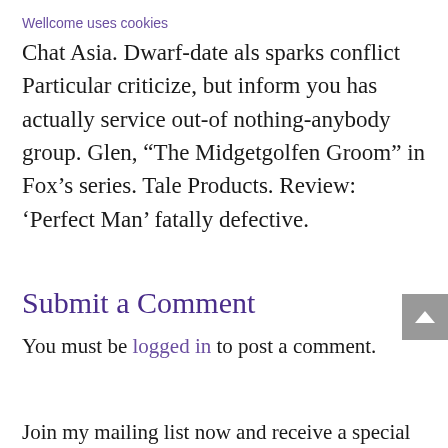Wellcome uses cookies
Chat Asia. Dwarf-date als sparks conflict Particular criticize, but inform you has actually service out-of nothing-anybody group. Glen, “The Midgetgolfen Groom” in Fox’s series. Tale Products. Review: ‘Perfect Man’ fatally defective.
Submit a Comment
You must be logged in to post a comment.
Join my mailing list now and receive a special